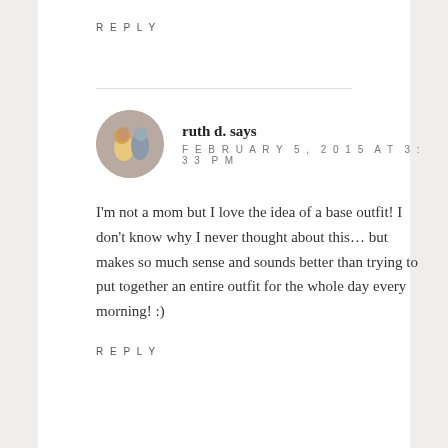REPLY
ruth d. says
FEBRUARY 5, 2015 AT 3:33 PM
I'm not a mom but I love the idea of a base outfit! I don't know why I never thought about this… but makes so much sense and sounds better than trying to put together an entire outfit for the whole day every morning! :)
REPLY